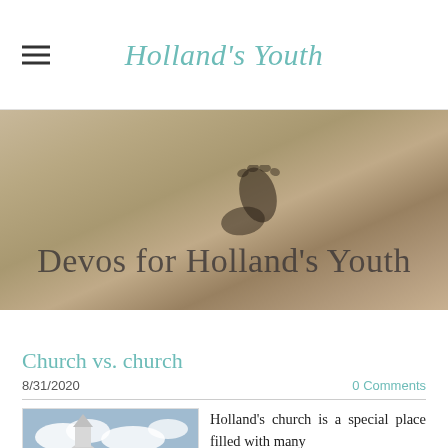Holland's Youth
[Figure (photo): Hero banner with sandy ground background and footprint, overlaid with text 'Devos for Holland's Youth']
Devos for Holland's Youth
Church vs. church
8/31/2020
0 Comments
[Figure (photo): Photograph of Holland's United Methodist Church building and sign]
Holland's church is a special place filled with many